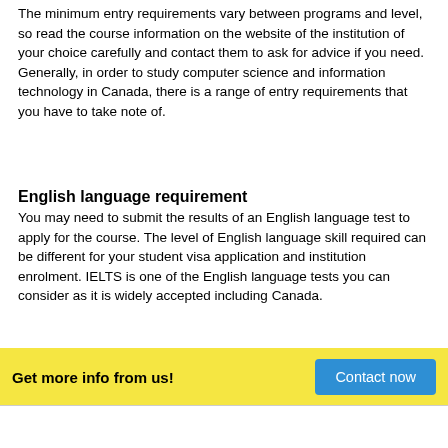The minimum entry requirements vary between programs and level, so read the course information on the website of the institution of your choice carefully and contact them to ask for advice if you need. Generally, in order to study computer science and information technology in Canada, there is a range of entry requirements that you have to take note of.
English language requirement
You may need to submit the results of an English language test to apply for the course. The level of English language skill required can be different for your student visa application and institution enrolment. IELTS is one of the English language tests you can consider as it is widely accepted including Canada.
Get more info from us!  Contact now